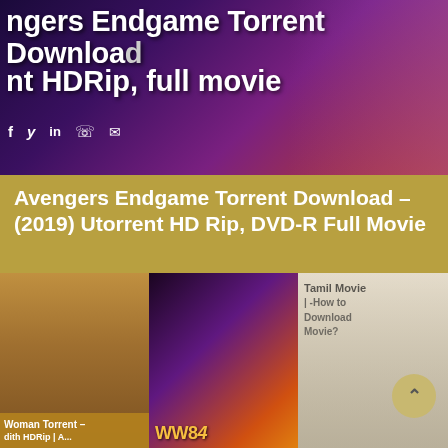[Figure (screenshot): Hero banner image showing Avengers Endgame with text overlay: 'ngers Endgame Torrent Download' and '2019 Utorrent HDRip, full movie' with social media icons (Facebook, Twitter, LinkedIn, WhatsApp, Email)]
Avengers Endgame Torrent Download – (2019) Utorrent HD Rip, DVD-R Full Movie
June 15, 2021
Avengers: Endgame torrent download – Avengers Endgame 2019 YIFY movie download torrent After the devastating…
[Figure (photo): Thumbnail of Woman Torrent movie poster showing a woman in Wonder Woman-like costume]
[Figure (photo): Thumbnail of WW84 Wonder Woman movie poster with action scene]
[Figure (photo): Thumbnail of Tamil Movie showing how to download with actors photo, text reads 'Tamil Movie | -How to Download Movie?']